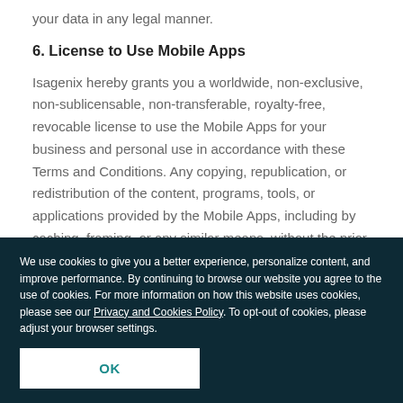your data in any legal manner.
6. License to Use Mobile Apps
Isagenix hereby grants you a worldwide, non-exclusive, non-sublicensable, non-transferable, royalty-free, revocable license to use the Mobile Apps for your business and personal use in accordance with these Terms and Conditions. Any copying, republication, or redistribution of the content, programs, tools, or applications provided by the Mobile Apps, including by caching, framing, or any similar means, without the prior written consent
We use cookies to give you a better experience, personalize content, and improve performance. By continuing to browse our website you agree to the use of cookies. For more information on how this website uses cookies, please see our Privacy and Cookies Policy. To opt-out of cookies, please adjust your browser settings.
OK